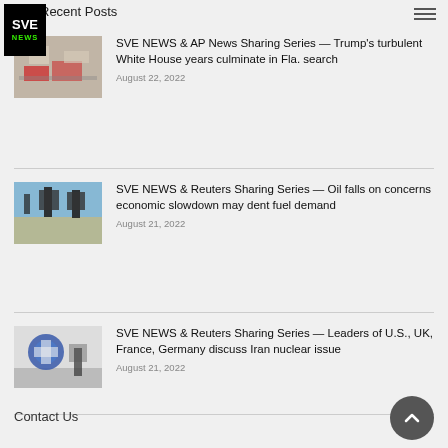Recent Posts
[Figure (photo): SVE NEWS logo — black background with white SVE text and green NEWS text]
[Figure (photo): Photo of a cluttered desk with maps or papers, indoors]
SVE NEWS & AP News Sharing Series — Trump's turbulent White House years culminate in Fla. search
August 22, 2022
[Figure (photo): Photo of oil pump jacks in a desert landscape]
SVE NEWS & Reuters Sharing Series — Oil falls on concerns economic slowdown may dent fuel demand
August 21, 2022
[Figure (photo): Photo of people near a wall mural featuring a US eagle emblem]
SVE NEWS & Reuters Sharing Series — Leaders of U.S., UK, France, Germany discuss Iran nuclear issue
August 21, 2022
Contact Us
info@svenews.com